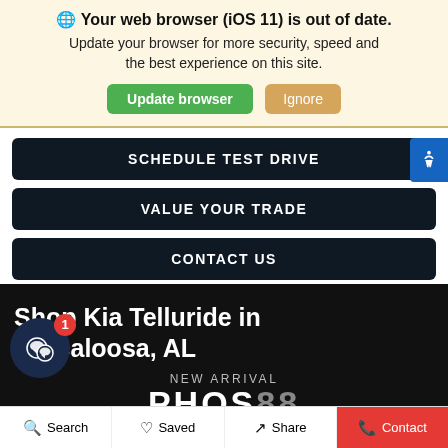🌐 Your web browser (iOS 11) is out of date. Update your browser for more security, speed and the best experience on this site.
Update browser | Ignore
SCHEDULE TEST DRIVE
VALUE YOUR TRADE
CONTACT US
Shop Kia Telluride in Tuscaloosa, AL
NEW ARRIVAL
Search | Saved | Share | Contact